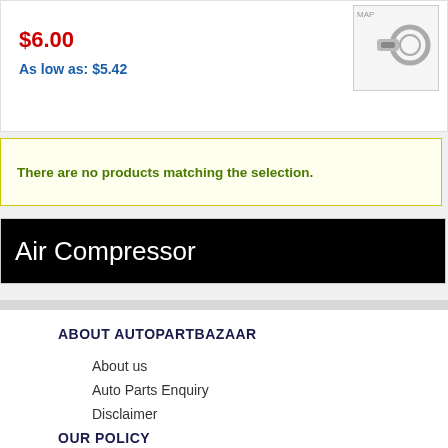$6.00
As low as: $5.42
[Figure (photo): Small product image showing metal rings/clips on white background]
There are no products matching the selection.
Air Compressor
ABOUT AUTOPARTBAZAAR
About us
Auto Parts Enquiry
Disclaimer
OUR POLICY